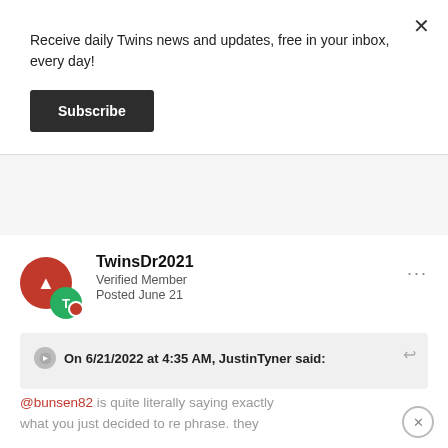Receive daily Twins news and updates, free in your inbox, every day!
Subscribe
TwinsDr2021
Verified Member
Posted June 21
On 6/21/2022 at 4:35 AM, JustinTyner said:
@bunsen82 is quite literally saying exactly what you just decided to re phrase. they